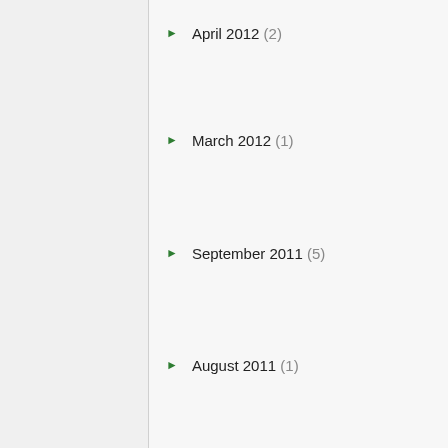April 2012 (2)
March 2012 (1)
September 2011 (5)
August 2011 (1)
July 2011 (4)
June 2011 (5)
May 2011 (6)
April 2011 (8)
March 2011 (9)
February 2011 (5)